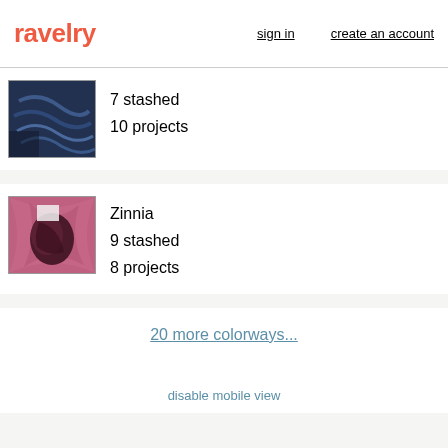ravelry | sign in | create an account
7 stashed
10 projects
Zinnia
9 stashed
8 projects
20 more colorways...
disable mobile view